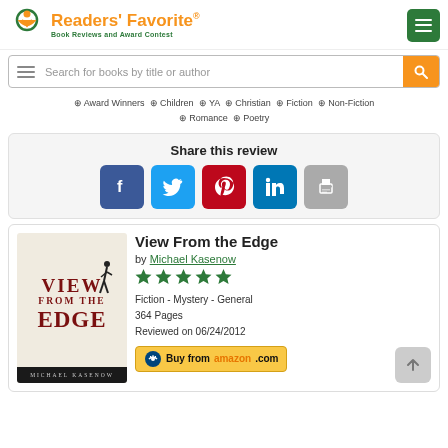Readers' Favorite - Book Reviews and Award Contest
Search for books by title or author
Award Winners  Children  YA  Christian  Fiction  Non-Fiction  Romance  Poetry
Share this review
[Figure (screenshot): Social share buttons: Facebook, Twitter, Pinterest, LinkedIn, Print]
View From the Edge
by Michael Kasenow
[Figure (other): 5-star rating shown with green stars]
Fiction - Mystery - General
364 Pages
Reviewed on 06/24/2012
[Figure (other): Book cover: View From the Edge by Michael Kasenow]
Buy from amazon.com